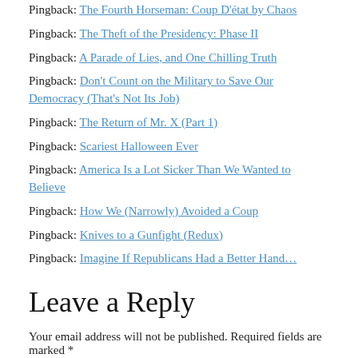Pingback: The Fourth Horseman: Coup D'état by Chaos
Pingback: The Theft of the Presidency: Phase II
Pingback: A Parade of Lies, and One Chilling Truth
Pingback: Don't Count on the Military to Save Our Democracy (That's Not Its Job)
Pingback: The Return of Mr. X (Part 1)
Pingback: Scariest Halloween Ever
Pingback: America Is a Lot Sicker Than We Wanted to Believe
Pingback: How We (Narrowly) Avoided a Coup
Pingback: Knives to a Gunfight (Redux)
Pingback: Imagine If Republicans Had a Better Hand...
Leave a Reply
Your email address will not be published. Required fields are marked *
COMMENT *